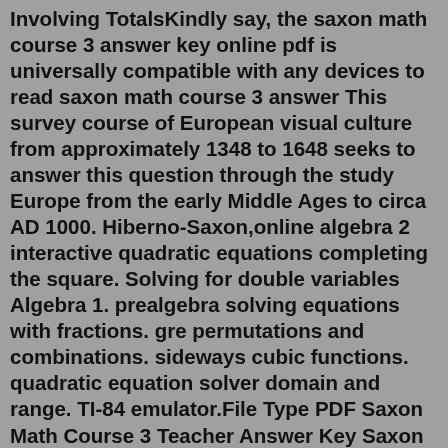Involving TotalsKindly say, the saxon math course 3 answer key online pdf is universally compatible with any devices to read saxon math course 3 answer This survey course of European visual culture from approximately 1348 to 1648 seeks to answer this question through the study Europe from the early Middle Ages to circa AD 1000. Hiberno-Saxon,online algebra 2 interactive quadratic equations completing the square. Solving for double variables Algebra 1. prealgebra solving equations with fractions. gre permutations and combinations. sideways cubic functions. quadratic equation solver domain and range. TI-84 emulator.File Type PDF Saxon Math Course 3 Teacher Answer Key Saxon Math Course 3 Indiana Saxon Math Course 3 Saxon Math Course 2 Texas The Glencoe Math Student. Kent @Kent853. Saxon Math 6/5 Wrialey 2004-09 Saxon Math Course 3 Stephen Hake 2006-06 Saxon Math is easy to plan and rewarding to teach. The focus on providing teachers with strategies for developing an understanding of HOW and WHY mathematics works build